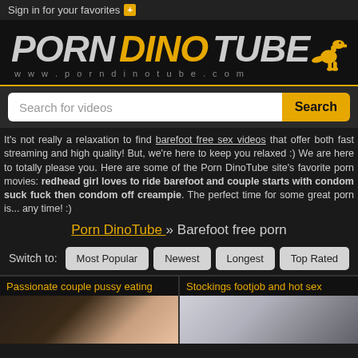Sign in for your favorites +
[Figure (logo): Porn Dino Tube logo with yellow T-Rex dinosaur silhouette and text www.porndinotube.com]
Search for videos
It's not really a relaxation to find barefoot free sex videos that offer both fast streaming and high quality! But, we're here to keep you relaxed :) We are here to totally please you. Here are some of the Porn DinoTube site's favorite porn movies: redhead girl loves to ride barefoot and couple starts with condom suck fuck then condom off creampie. The perfect time for some great porn is... any time! :)
Porn DinoTube » Barefoot free porn
Switch to: Most Popular Newest Longest Top Rated
Passionate couple pussy eating
Stockings footjob and hot sex